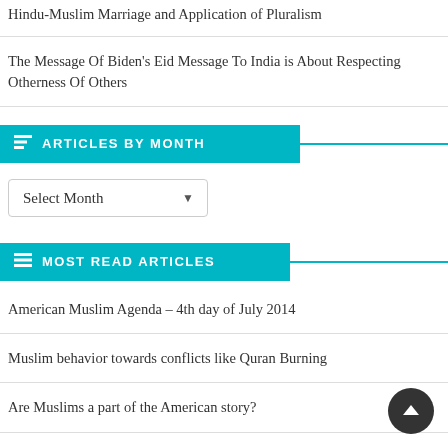Hindu-Muslim Marriage and Application of Pluralism
The Message Of Biden’s Eid Message To India is About Respecting Otherness Of Others
ARTICLES BY MONTH
Select Month
MOST READ ARTICLES
American Muslim Agenda – 4th day of July 2014
Muslim behavior towards conflicts like Quran Burning
Are Muslims a part of the American story?
Unlike Jews or Christians
Quran on Apostasy